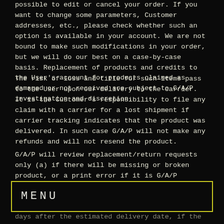possible to edit or cancel your order. If you want to change some parameters, Customer addresses, etc., please check whether such an option is available in your account. We are not bound to make such modifications in your order, but we will do our best on a case-by-case basis. Replacement of products and credits to the User's account for products claimed as damaged or not received are subject to G/A/P investigation and discretion.
The risk of loss and title for such items pass to the User upon our delivery to the carrier. It is the Customer's responsibility to file any claim with a carrier for a lost shipment if carrier tracking indicates that the product was delivered. In such case G/A/P will not make any refunds and will not resend the product.
G/A/P will review replacement/return requests only (a) if there will be missing or broken product, or a print error if it is G/A/P
MENU
days after the estimated delivery date, if the product is missing)